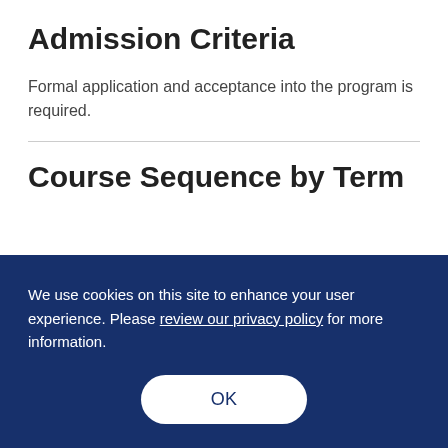Admission Criteria
Formal application and acceptance into the program is required.
Course Sequence by Term
We use cookies on this site to enhance your user experience. Please review our privacy policy for more information.
OK